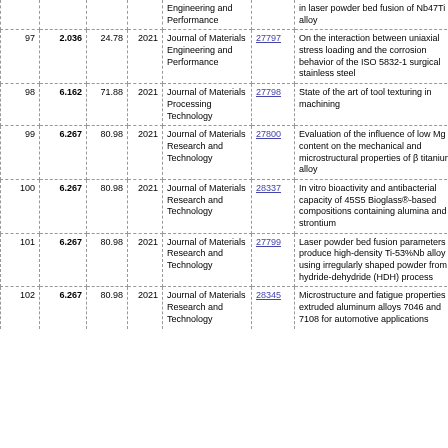| # | IF | % | Year | Journal | ID | Title | Author |
| --- | --- | --- | --- | --- | --- | --- | --- |
|  |  |  |  | Engineering and Performance |  | in laser powder bed fusion of Nb47Ti alloy |  |
| 97 | 2.036 | 24.78 | 2021 | Journal of Materials Engineering and Performance | 27797 | On the interaction between uniaxial stress loading and the corrosion behavior of the ISO 5832-1 surgical stainless steel | S C |
| 98 | 6.162 | 71.88 | 2021 | Journal of Materials Processing Technology | 27798 | State of the art of tool texturing in machining | M A |
| 99 | 6.267 | 80.98 | 2021 | Journal of Materials Research and Technology | 27800 | Evaluation of the influence of low Mg content on the mechanical and microstructural properties of β titanium alloy | R C |
| 100 | 6.267 | 80.98 | 2021 | Journal of Materials Research and Technology | 28337 | In vitro bioactivity and antibacterial capacity of 45S5 Bioglass®-based compositions containing alumina and strontium | A |
| 101 | 6.267 | 80.98 | 2021 | Journal of Materials Research and Technology | 27799 | Laser powder bed fusion parameters to produce high-density Ti-53%Nb alloy using irregularly shaped powder from hydride-dehydride (HDH) process | G |
| 102 | 6.267 | 80.98 | 2021 | Journal of Materials Research and Technology | 28345 | Microstructure and fatigue properties of extruded aluminum alloys 7046 and 7108 for automotive applications | H |